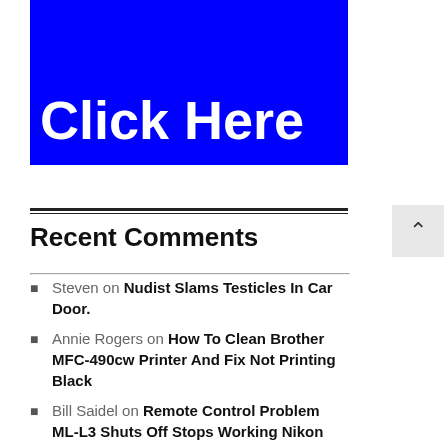[Figure (other): Blue banner with white bold text reading 'Tech Deals Click Here' (top portion partially visible showing 'Click Here')]
Recent Comments
Steven on Nudist Slams Testicles In Car Door.
Annie Rogers on How To Clean Brother MFC-490cw Printer And Fix Not Printing Black
Bill Saidel on Remote Control Problem ML-L3 Shuts Off Stops Working Nikon Cameras
graham rule on Gavin Hoey Shows How